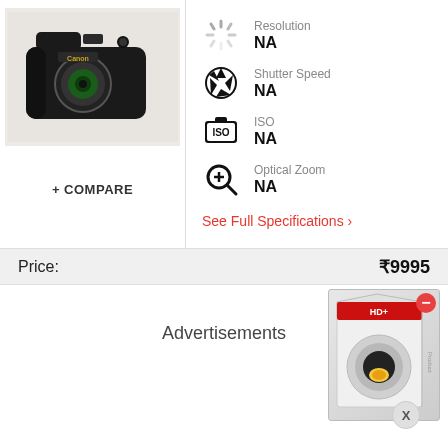[Figure (photo): Canon compact digital camera, black color, shown from front-left angle]
+ COMPARE
Resolution
NA
Shutter Speed
NA
ISO
NA
Optical Zoom
NA
See Full Specifications ›
Price:  ₹9995
Advertisements
[Figure (photo): Advertisement box with product image of a circular watch/lens accessory]